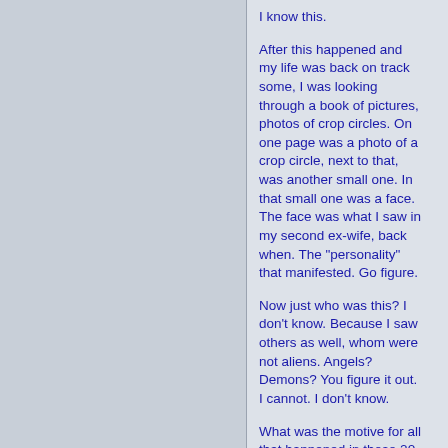I know this.
After this happened and my life was back on track some, I was looking through a book of pictures, photos of crop circles. On one page was a photo of a crop circle, next to that, was another small one. In that small one was a face. The face was what I saw in my second ex-wife, back when. The "personality" that manifested. Go figure.
Now just who was this? I don't know. Because I saw others as well, whom were not aliens. Angels? Demons? You figure it out. I cannot. I don't know.
What was the motive for all that happened in those 20 months? Starting on the birthday of my last two children from my first marriage, I was told the children...